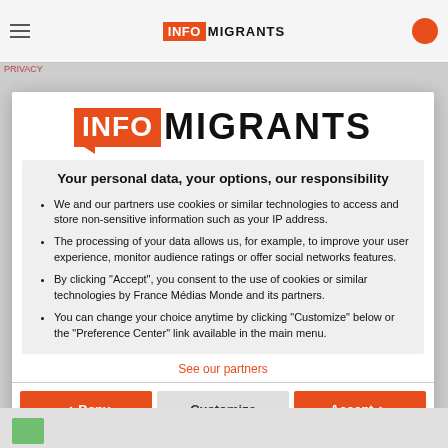InfoMigrants
[Figure (logo): InfoMigrants logo with orange INFO box and black MIGRANTS text]
Your personal data, your options, our responsibility
We and our partners use cookies or similar technologies to access and store non-sensitive information such as your IP address.
The processing of your data allows us, for example, to improve your user experience, monitor audience ratings or offer social networks features.
By clicking "Accept", you consent to the use of cookies or similar technologies by France Médias Monde and its partners.
You can change your choice anytime by clicking "Customize" below or the "Preference Center" link available in the main menu.
See our partners
◄ Deny   Customize   Accept ►